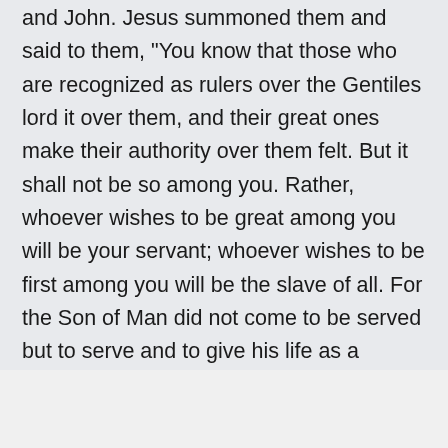and John. Jesus summoned them and said to them, "You know that those who are recognized as rulers over the Gentiles lord it over them, and their great ones make their authority over them felt. But it shall not be so among you. Rather, whoever wishes to be great among you will be your servant; whoever wishes to be first among you will be the slave of all. For the Son of Man did not come to be served but to serve and to give his life as a ransom for many."